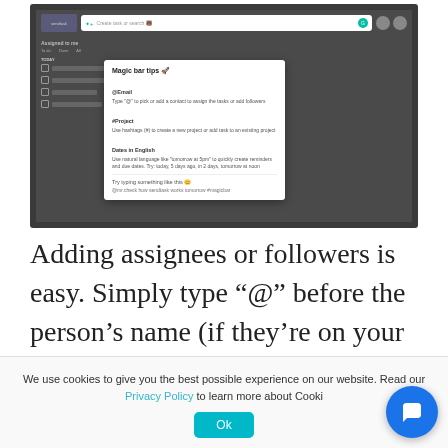[Figure (screenshot): Screenshot of Sendtask application showing a magic bar tips popup with instructions for @Email, #Project, and Dates in English features, and a task creation interface]
Adding assignees or followers is easy. Simply type “@” before the person’s name (if they’re on your contact list) or email address. You will also
We use cookies to give you the best possible experience on our website. Read our Privacy Policy to learn more about Cooki
Ok